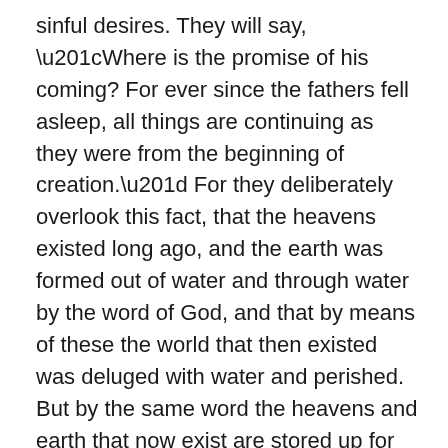sinful desires. They will say, “Where is the promise of his coming? For ever since the fathers fell asleep, all things are continuing as they were from the beginning of creation.” For they deliberately overlook this fact, that the heavens existed long ago, and the earth was formed out of water and through water by the word of God, and that by means of these the world that then existed was deluged with water and perished. But by the same word the heavens and earth that now exist are stored up for fire, being kept until the day of judgment and destruction of the ungodly. But do not overlook this one fact, beloved, that with the Lord one day is as a thousand years, and a thousand years as one day. The Lord is not slow to fulfill his promise as some count slowness, but is patient toward you, not wishing that any should perish, but that all should reach repentance.”